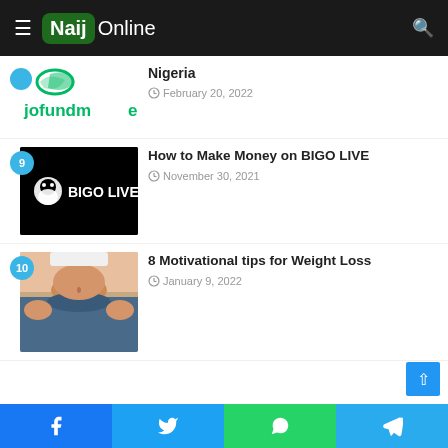Naij Online
Nigeria
February 20, 2022
How to Make Money on BIGO LIVE
November 30, 2021
8 Motivational tips for Weight Loss
January 9, 2022